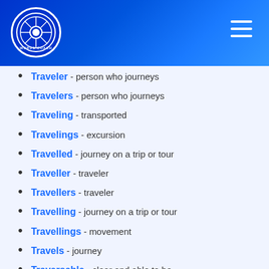[Figure (logo): Words Coach circular logo with camera aperture icon]
Traveler - person who journeys
Travelers - person who journeys
Traveling - transported
Travelings - excursion
Travelled - journey on a trip or tour
Traveller - traveler
Travellers - traveler
Travelling - journey on a trip or tour
Travellings - movement
Travels - journey
Traversable - clear and able to be